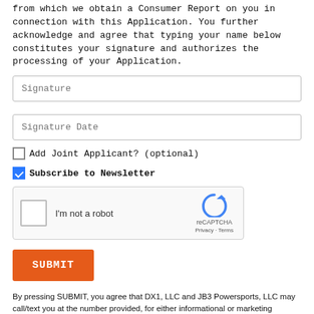from which we obtain a Consumer Report on you in connection with this Application. You further acknowledge and agree that typing your name below constitutes your signature and authorizes the processing of your Application.
Signature
Signature Date
Add Joint Applicant? (optional)
Subscribe to Newsletter
[Figure (screenshot): reCAPTCHA widget with checkbox 'I'm not a robot', reCAPTCHA logo, Privacy and Terms links]
SUBMIT
By pressing SUBMIT, you agree that DX1, LLC and JB3 Powersports, LLC may call/text you at the number provided, for either informational or marketing purposes, using an automatic telephone dialing system or pre-recorded/artificial voices. Msg/data rates may apply. You